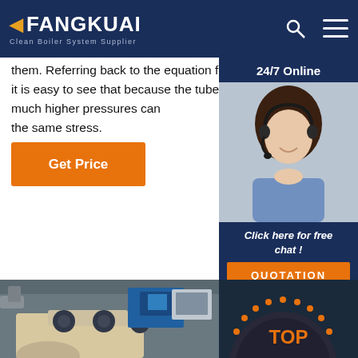FANGKUAI Clean Boiler System Supplier
them. Referring back to the equation for hoop stress (Equation 3.2.1), it is easy to see that because the tube diameter is significantly smaller, much higher pressures can be sustained at the same stress.
[Figure (photo): Customer service agent with headset, 24/7 Online support panel]
[Figure (photo): Industrial boiler manufacturing equipment in factory]
[Figure (other): TOP button badge with orange dots arc]
Get Price
Click here for free chat !
QUOTATION